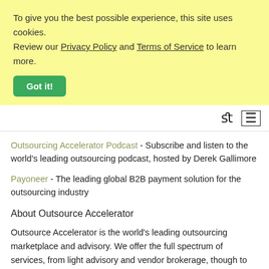To give you the best possible experience, this site uses cookies. Review our Privacy Policy and Terms of Service to learn more.
Got it!
Outsourcing Accelerator Podcast - Subscribe and listen to the world's leading outsourcing podcast, hosted by Derek Gallimore
Payoneer - The leading global B2B payment solution for the outsourcing industry
About Outsource Accelerator
Outsource Accelerator is the world's leading outsourcing marketplace and advisory. We offer the full spectrum of services, from light advisory and vendor brokerage, though to full implementation and fully-managed solutions. We service companies of all sectors, and all sizes, spanning all departmental verticals.